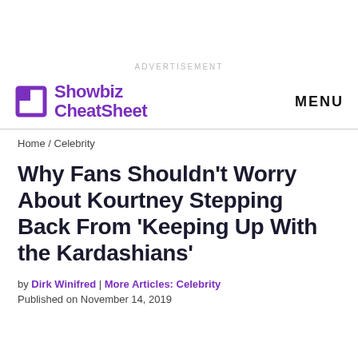ADVERTISEMENT
Showbiz CheatSheet | MENU
Home / Celebrity
Why Fans Shouldn't Worry About Kourtney Stepping Back From 'Keeping Up With the Kardashians'
by Dirk Winifred | More Articles: Celebrity
Published on November 14, 2019